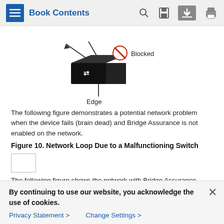Book Contents
[Figure (engineering-diagram): Network diagram showing a switch device labeled 'Edge' with a blocked port indicator (red circle with line through it) and the label 'Blocked' to the right. Two diagonal lines extend from the top of the switch. Figure number 354159 shown vertically on the right side.]
The following figure demonstrates a potential network problem when the device fails (brain dead) and Bridge Assurance is not enabled on the network.
Figure 10. Network Loop Due to a Malfunctioning Switch
[Figure (other): Placeholder box for figure 10 (image not loaded)]
The following figure shows the network with Bridge Assurance enabled and the STP...
By continuing to use our website, you acknowledge the use of cookies.
Privacy Statement > Change Settings >